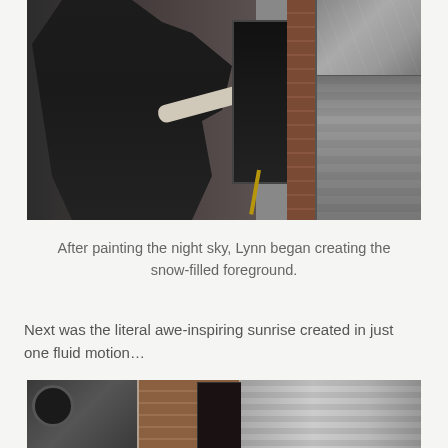[Figure (photo): A person wearing a black cap and black clothing painting on a dark canvas mounted on a wooden easel. The background shows a brick wall with framed black-and-white photographs of city streets.]
After painting the night sky, Lynn began creating the snow-filled foreground.
Next was the literal awe-inspiring sunrise created in just one fluid motion…
[Figure (photo): Partial view of a photo showing a person in dark clothing, a brick wall background, and framed black-and-white city photographs, cropped at the bottom of the page.]